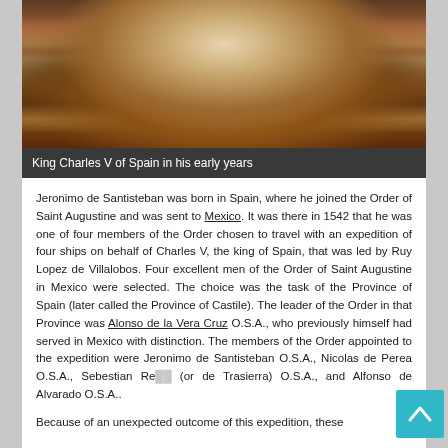[Figure (photo): Portrait painting of King Charles V of Spain in his early years, showing his upper body with ornate golden chain/collar, white ruffled collar, and dark reddish-brown clothing.]
King Charles V of Spain in his early years
Jeronimo de Santisteban was born in Spain, where he joined the Order of Saint Augustine and was sent to Mexico. It was there in 1542 that he was one of four members of the Order chosen to travel with an expedition of four ships on behalf of Charles V, the king of Spain, that was led by Ruy Lopez de Villalobos. Four excellent men of the Order of Saint Augustine in Mexico were selected. The choice was the task of the Province of Spain (later called the Province of Castile). The leader of the Order in that Province was Alonso de la Vera Cruz O.S.A., who previously himself had served in Mexico with distinction. The members of the Order appointed to the expedition were Jeronimo de Santisteban O.S.A., Nicolas de Perea O.S.A., Sebestian Re... (or de Trasierra) O.S.A., and Alfonso de Alvarado O.S.A..
Because of an unexpected outcome of this expedition, these